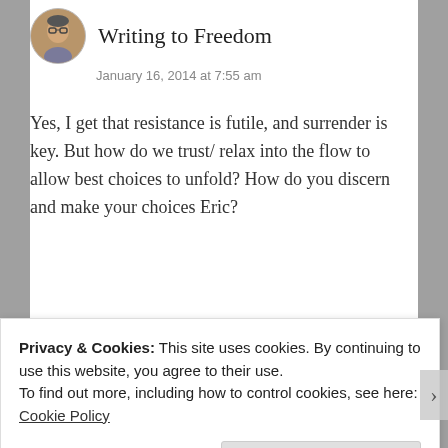Writing to Freedom
January 16, 2014 at 7:55 am
Yes, I get that resistance is futile, and surrender is key. But how do we trust/ relax into the flow to allow best choices to unfold? How do you discern and make your choices Eric?
★ Like
Reply
REPORT THIS AD
Privacy & Cookies: This site uses cookies. By continuing to use this website, you agree to their use.
To find out more, including how to control cookies, see here: Cookie Policy
Close and accept